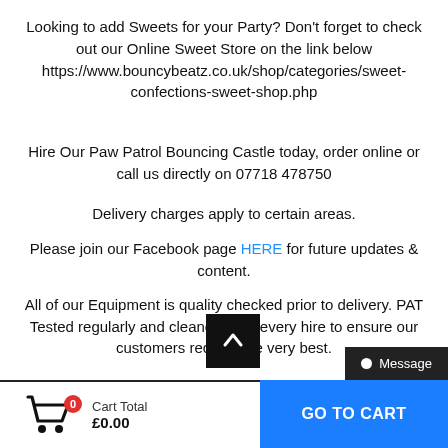Looking to add Sweets for your Party? Don't forget to check out our Online Sweet Store on the link below https://www.bouncybeatz.co.uk/shop/categories/sweet-confections-sweet-shop.php
Hire Our Paw Patrol Bouncing Castle today, order online or call us directly on 07718 478750
Delivery charges apply to certain areas.
Please join our Facebook page HERE for future updates & content.
All of our Equipment is quality checked prior to delivery. PAT Tested regularly and cleaned after every hire to ensure our customers receive the very best.
Cart Total £0.00  GO TO CART  Message